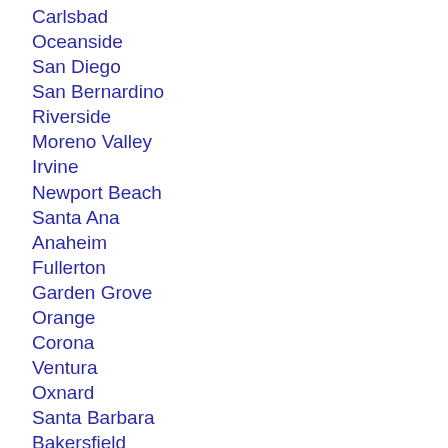Carlsbad
Oceanside
San Diego
San Bernardino
Riverside
Moreno Valley
Irvine
Newport Beach
Santa Ana
Anaheim
Fullerton
Garden Grove
Orange
Corona
Ventura
Oxnard
Santa Barbara
Bakersfield
San Luis Obispo
Lancaster
Fresno